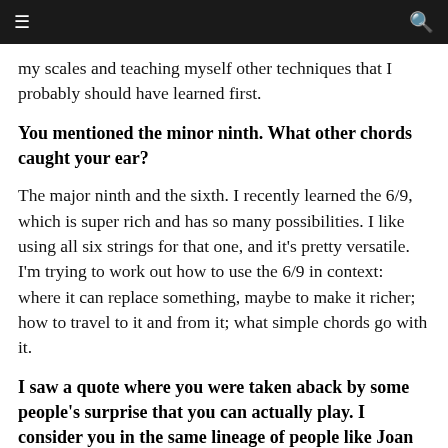≡   🔍
my scales and teaching myself other techniques that I probably should have learned first.
You mentioned the minor ninth. What other chords caught your ear?
The major ninth and the sixth. I recently learned the 6/9, which is super rich and has so many possibilities. I like using all six strings for that one, and it's pretty versatile. I'm trying to work out how to use the 6/9 in context: where it can replace something, maybe to make it richer; how to travel to it and from it; what simple chords go with it.
I saw a quote where you were taken aback by some people's surprise that you can actually play. I consider you in the same lineage of people like Joan Armatrading, H.E.R., Valerie June…